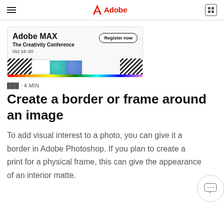Adobe
[Figure (illustration): Adobe MAX conference banner: 'Adobe MAX – The Creativity Conference, Oct 18–20' with Register now button, rainbow bar at bottom, diagonal stripe patterns, teal and blue shapes]
███ · 4 MIN
Create a border or frame around an image
To add visual interest to a photo, you can give it a border in Adobe Photoshop. If you plan to create a print for a physical frame, this can give the appearance of an interior matte.